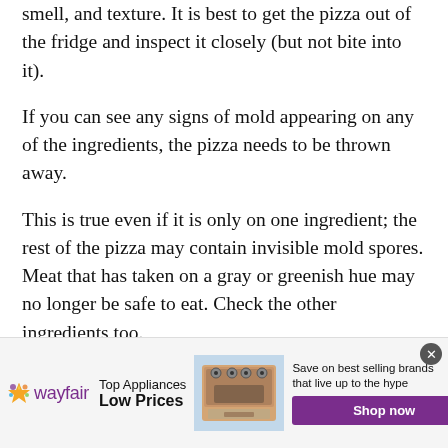smell, and texture. It is best to get the pizza out of the fridge and inspect it closely (but not bite into it).
If you can see any signs of mold appearing on any of the ingredients, the pizza needs to be thrown away.
This is true even if it is only on one ingredient; the rest of the pizza may contain invisible mold spores. Meat that has taken on a gray or greenish hue may no longer be safe to eat. Check the other ingredients too.
[Figure (other): Wayfair advertisement banner. Shows Wayfair logo with colorful star, text 'Top Appliances Low Prices', image of kitchen range/stove appliance, text 'Save on best selling brands that live up to the hype', and a purple 'Shop now' button. Close X button in top right corner.]